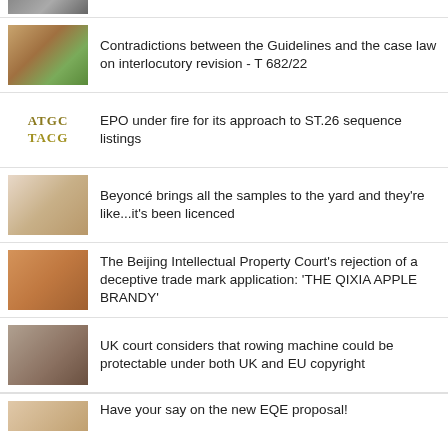[Figure (photo): Partial cat photo at top (cropped)]
Contradictions between the Guidelines and the case law on interlocutory revision - T 682/22
EPO under fire for its approach to ST.26 sequence listings
Beyoncé brings all the samples to the yard and they're like...it's been licenced
The Beijing Intellectual Property Court's rejection of a deceptive trade mark application: 'THE QIXIA APPLE BRANDY'
UK court considers that rowing machine could be protectable under both UK and EU copyright
Have your say on the new EQE proposal!